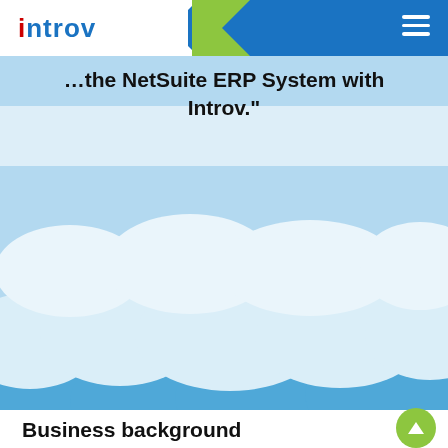introv
[Figure (illustration): Decorative cloud/sky background illustration with layered blue and white cloud shapes. Partial quote text visible at top: '...the NetSuite ERP System with Introv.']
...the NetSuite ERP System with Introv."
Business background
AICA Taiwan, the Taiwan subsidiary of Aica Kogyo Co. Ltd, a Japanese materials manufacturing and design company in the chemical industry with the motto “sustainable manufacturing”. AICA aims to remain a company trusted by the society, committed to responding and contributing to social needs. However, the surroundings of the society and the company has changed in Taiwan and this change has led to...